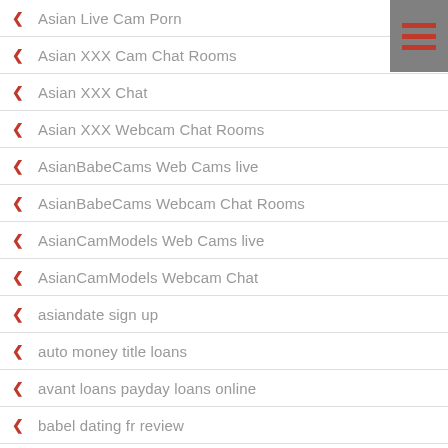[Figure (other): Hamburger menu icon with three red horizontal lines on a gray background]
Asian Live Cam Porn
Asian XXX Cam Chat Rooms
Asian XXX Chat
Asian XXX Webcam Chat Rooms
AsianBabeCams Web Cams live
AsianBabeCams Webcam Chat Rooms
AsianCamModels Web Cams live
AsianCamModels Webcam Chat
asiandate sign up
auto money title loans
avant loans payday loans online
babel dating fr review